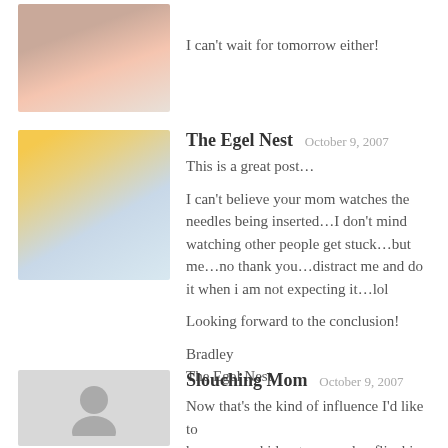[Figure (photo): Avatar photo of a woman with a baby]
I can't wait for tomorrow either!
[Figure (photo): Avatar photo showing The Egel Nest with group of children in yellow]
The Egel Nest  October 9, 2007
This is a great post…

I can't believe your mom watches the needles being inserted…I don't mind watching other people get stuck…but me…no thank you…distract me and do it when i am not expecting it…lol

Looking forward to the conclusion!

Bradley
The Egel Nest
[Figure (photo): Generic avatar silhouette placeholder for Slouching Mom]
Slouching Mom  October 9, 2007
Now that's the kind of influence I'd like to have on my kids: strong and unflinching and